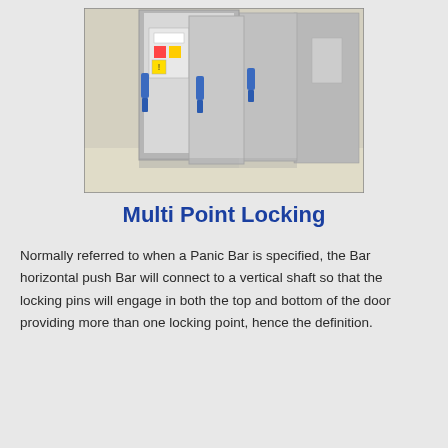[Figure (photo): Photograph of multiple open metal enclosure/cabinet doors in grey, showing interior electrical components and blue locking mechanisms (panic bars) mounted on the doors, in an industrial setting.]
Multi Point Locking
Normally referred to when a Panic Bar is specified, the Bar horizontal push Bar will connect to a vertical shaft so that the locking pins will engage in both the top and bottom of the door providing more than one locking point, hence the definition.